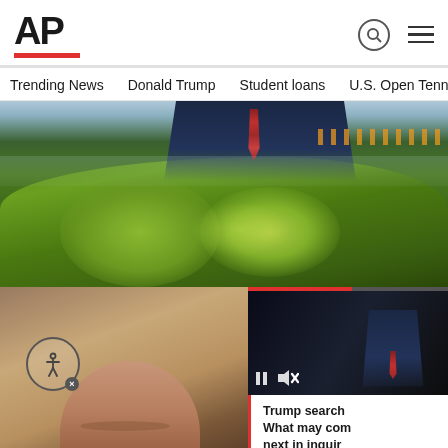AP
Trending News | Donald Trump | Student loans | U.S. Open Tenn
[Figure (photo): News photo showing a person in a dark suit with red tie, partially visible above green foliage/bokeh in the foreground, with warm lights in the background]
[Figure (screenshot): Video overlay panel showing a thumbnail of a person (Trump) in suit with pause and mute buttons, and text: Trump search What may come next in inquir]
[Figure (photo): Bottom left photo showing a close-up of a hand/thumb area, partially visible]